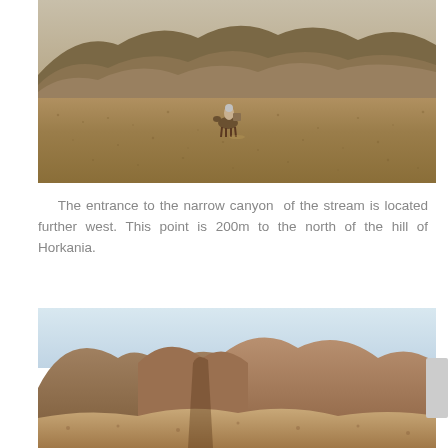[Figure (photo): Desert landscape photograph showing a person riding a donkey or horse across a vast flat arid plain with dramatic layered mountain ridges in the background under a pale sky.]
The entrance to the narrow canyon of the stream is located further west. This point is 200m to the north of the hill of Horkania.
[Figure (photo): Photograph of rocky desert hills and canyon landscape with light blue sky, showing eroded tan and brown hillsides typical of Judean Desert terrain.]